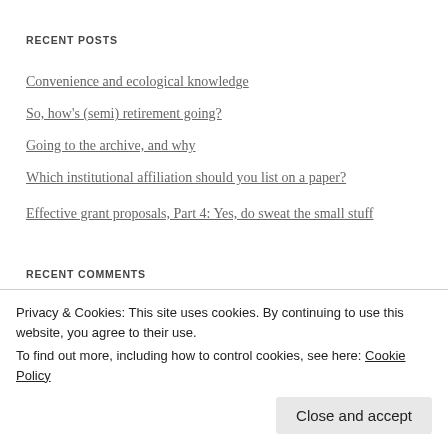RECENT POSTS
Convenience and ecological knowledge
So, how's (semi) retirement going?
Going to the archive, and why
Which institutional affiliation should you list on a paper?
Effective grant proposals, Part 4: Yes, do sweat the small stuff
RECENT COMMENTS
[Figure (other): User avatar thumbnail with hatch pattern]
Privacy & Cookies: This site uses cookies. By continuing to use this website, you agree to their use. To find out more, including how to control cookies, see here: Cookie Policy
Close and accept